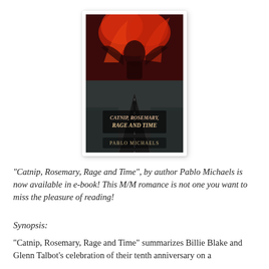[Figure (illustration): Book cover of 'Catnip, Rosemary, Rage and Time' by Pablo Michaels. Features a dramatic red and dark imagery with a figure and a road stretching into the distance.]
"Catnip, Rosemary, Rage and Time", by author Pablo Michaels is now available in e-book! This M/M romance is not one you want to miss the pleasure of reading!
Synopsis:
“Catnip, Rosemary, Rage and Time” summarizes Billie Blake and Glenn Talbot’s celebration of their tenth anniversary on a